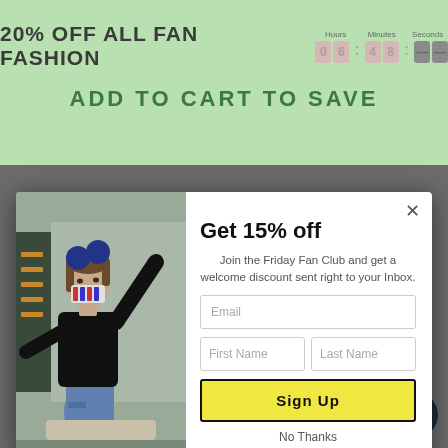20% OFF ALL FAN FASHION
Hours 06 Minutes 48 Seconds --
ADD TO CART TO SAVE
how to style
[Figure (photo): Woman in black sweatshirt, jeans, and blue pom-pom hat with arms raised, wearing a striped mask]
Get 15% off
Join the Friday Fan Club and get a welcome discount sent right to your Inbox.
Email
First Name
Last Name
Sign Up
No Thanks
kylo ren
lightsabers
loki
Chat with us